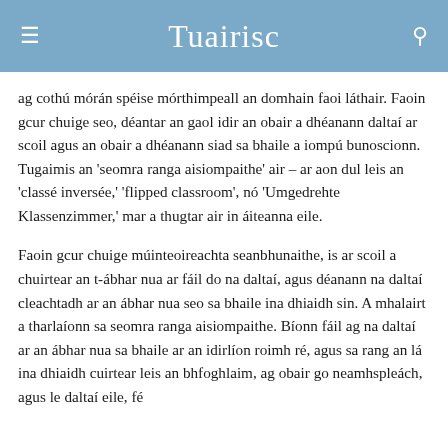Tuairisc
ag cothú mórán spéise mórthimpeall an domhain faoi láthair. Faoin gcur chuige seo, déantar an gaol idir an obair a dhéanann daltaí ar scoil agus an obair a dhéanann siad sa bhaile a iompú bunoscionn. Tugaimis an 'seomra ranga aisiompaithe' air – ar aon dul leis an 'classé inversée,' 'flipped classroom', nó 'Umgedrehte Klassenzimmer,' mar a thugtar air in áiteanna eile.
Faoin gcur chuige múinteoireachta seanbhunaithe, is ar scoil a chuirtear an t-ábhar nua ar fáil do na daltaí, agus déanann na daltaí cleachtadh ar an ábhar nua seo sa bhaile ina dhiaidh sin. A mhalairt a tharlaíonn sa seomra ranga aisiompaithe. Bíonn fáil ag na daltaí ar an ábhar nua sa bhaile ar an idirlíon roimh ré, agus sa rang an lá ina dhiaidh cuirtear leis an bhfoghlaim, ag obair go neamhspleách, agus le daltaí eile, fé sti...